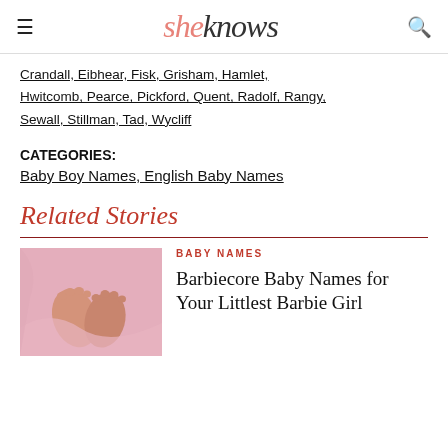sheknows
Crandall, Eibhear, Fisk, Grisham, Hamlet, Hwitcomb, Pearce, Pickford, Quent, Radolf, Rangy, Sewall, Stillman, Tad, Wycliff
CATEGORIES: Baby Boy Names, English Baby Names
Related Stories
[Figure (photo): Baby feet wrapped in pink blanket]
BABY NAMES
Barbiecore Baby Names for Your Littlest Barbie Girl